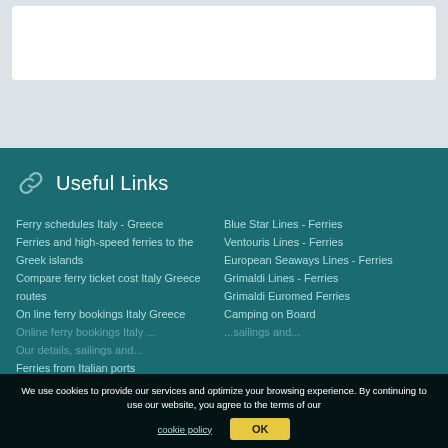[Figure (other): White box on grey background representing a content/search area at top of webpage]
Useful Links
Ferry schedules Italy - Greece
Ferries and high-speed ferries to the Greek islands
Compare ferry ticket cost Italy Greece routes
On line ferry bookings Italy Greece
Online ferry bookings Italy...
Our details, sailings and...
Ferries from Italian ports
Blue Star Lines - Ferries
Ventouris Lines - Ferries
European Seaways Lines - Ferries
Grimaldi Lines - Ferries
Grimaldi Euromed Ferries
Camping on Board
...sailings and...
We use cookies to provide our services and optimize your browsing experience. By continuing to use our website, you agree to the terms of our cookie policy OK